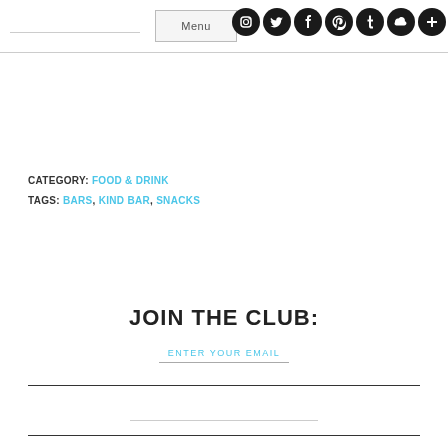Menu
CATEGORY: FOOD & DRINK
TAGS: BARS, KIND BAR, SNACKS
JOIN THE CLUB:
ENTER YOUR EMAIL